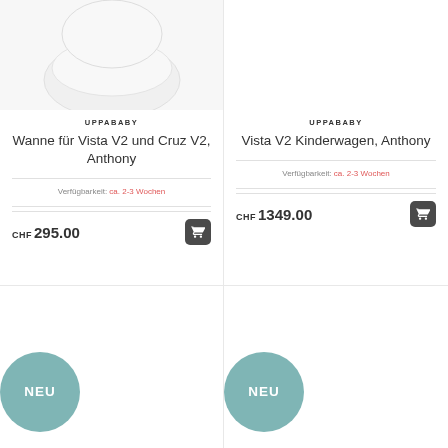[Figure (photo): Partial product image (top cropped) of UPPAbaby Wanne für Vista V2 und Cruz V2, Anthony on light grey background]
UPPABABY
Wanne für Vista V2 und Cruz V2, Anthony
Verfügbarkeit: ca. 2-3 Wochen
CHF 295.00
[Figure (photo): Partial product image area (empty/white) for UPPAbaby Vista V2 Kinderwagen, Anthony]
UPPABABY
Vista V2 Kinderwagen, Anthony
Verfügbarkeit: ca. 2-3 Wochen
CHF 1349.00
[Figure (illustration): NEU badge - teal circular badge with white text NEU]
[Figure (illustration): NEU badge - teal circular badge with white text NEU]